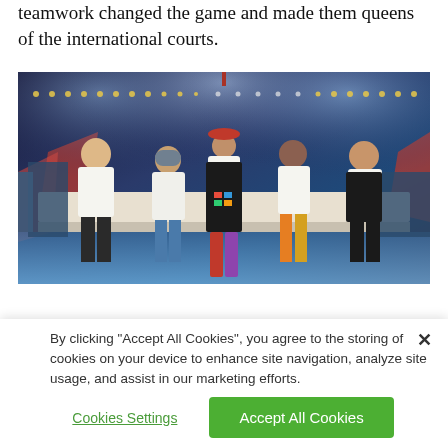teamwork changed the game and made them queens of the international courts.
[Figure (photo): Five chefs in white uniforms standing with arms crossed on a TV cooking show stage with dramatic blue and red lighting. From left: a tall man, a woman, a person in the center with a black apron with colorful details wearing a red hat, a man with a colorful patterned outfit, and a man on the right. All pose confidently in front of competition kitchen set with spotlights above.]
By clicking “Accept All Cookies”, you agree to the storing of cookies on your device to enhance site navigation, analyze site usage, and assist in our marketing efforts.
Cookies Settings
Accept All Cookies